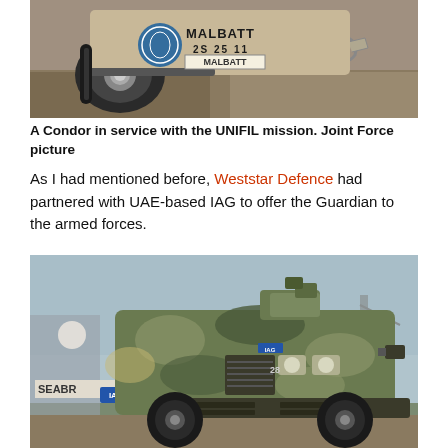[Figure (photo): A Condor armored vehicle in service with the UNIFIL mission, showing the MALBATT marking, photographed close up showing the wheel area.]
A Condor in service with the UNIFIL mission. Joint Force picture
As I had mentioned before, Weststar Defence had partnered with UAE-based IAG to offer the Guardian to the armed forces.
[Figure (photo): An IAG Guardian armored vehicle in camouflage paint scheme photographed at a port with a SEABRIDGE vessel in the background.]